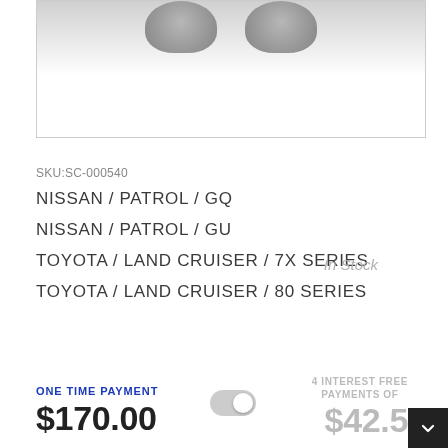[Figure (photo): Product image area showing two wheel/brake parts partially visible at top, gray gradient background, white bordered box]
SKU:SC-000540
NISSAN / PATROL / GQ
NISSAN / PATROL / GU
TOYOTA / LAND CRUISER / 7X SERIES
In Stock
TOYOTA / LAND CRUISER / 80 SERIES
ONE TIME PAYMENT
$170.00
4 INTEREST FREE PAYMENTS OF
$42.5